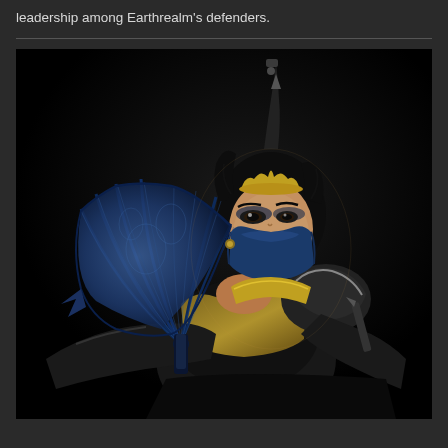leadership among Earthrealm's defenders.
[Figure (photo): Kitana character from Mortal Kombat video game. A female warrior with black hair styled up with a golden crown, wearing a blue leather face mask covering the lower half of her face, gold and black armor with shoulder pads, long black gloves, and holding a large ornate blue decorative fan weapon. Dark black background.]